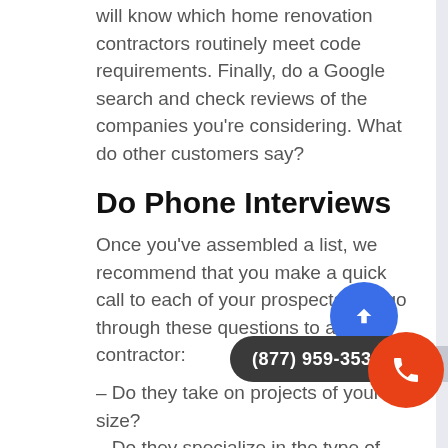will know which home renovation contractors routinely meet code requirements. Finally, do a Google search and check reviews of the companies you're considering. What do other customers say?
Do Phone Interviews
Once you've assembled a list, we recommend that you make a quick call to each of your prospects and go through these questions to ask a contractor:
– Do they take on projects of your size?
– Do they specialize in the type of work you're looking to contract?
– Are they willing to provide financial